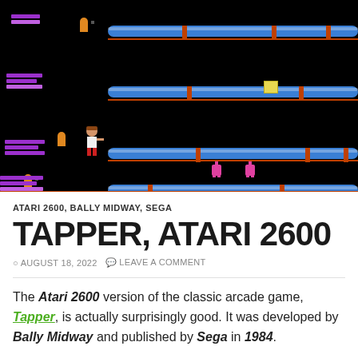[Figure (screenshot): Atari 2600 Tapper game screenshot showing multiple horizontal blue pipes/bars with the player character (bartender in white shirt) and various colored alien/customer characters on a black background. Purple stack bars visible on the left side.]
ATARI 2600, BALLY MIDWAY, SEGA
TAPPER, ATARI 2600
AUGUST 18, 2022  LEAVE A COMMENT
The Atari 2600 version of the classic arcade game, Tapper, is actually surprisingly good. It was developed by Bally Midway and published by Sega in 1984.